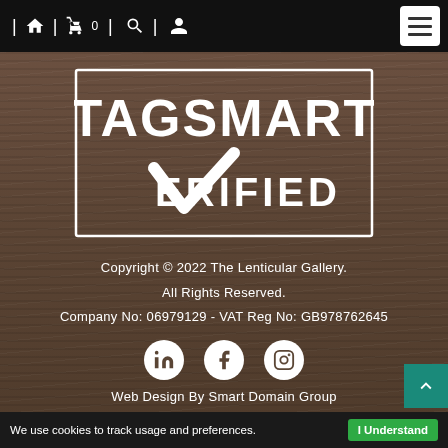| 🏠 | 🛒 0 | 🔍 | 👤 [hamburger menu]
[Figure (logo): TagSmart Verified logo — white text on dark wood background inside a rectangular border. Large text TAGSMART above a large checkmark followed by ERIFIED]
Copyright © 2022 The Lenticular Gallery.
All Rights Reserved.
Company No: 06979129 - VAT Reg No: GB978762645
[Figure (illustration): Three white social media icons in circles: LinkedIn, Facebook, Instagram]
Web Design By Smart Domain Group
We use cookies to track usage and preferences.  I Understand